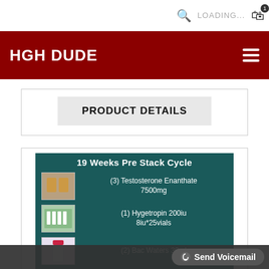LOADING...
HGH DUDE
PRODUCT DETAILS
[Figure (infographic): 19 Weeks Pre Stack Cycle product listing showing: (3) Testosterone Enanthate 7500mg, (1) Hygetropin 200iu 8iu*25vials, (2) Bac Waters 30ml, (2) Nolvadex 1200mg, (15) 3cc 25g 1" Syringes, Insulin syringes 100 units. Retails $817. Stack Price S[cut off].]
Send Voicemail